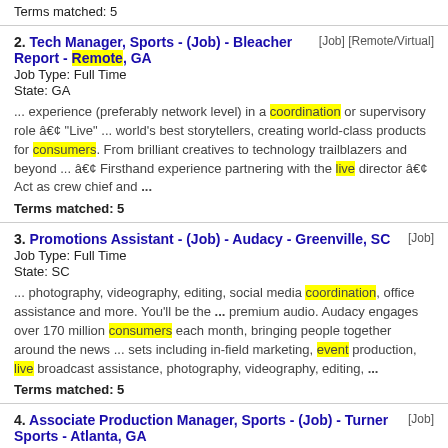Terms matched: 5
2. Tech Manager, Sports - (Job) - Bleacher Report - Remote, GA
Job Type: Full Time [Job] [Remote/Virtual]
State: GA
... experience (preferably network level) in a coordination or supervisory role â€¢ "Live" ... world's best storytellers, creating world-class products for consumers. From brilliant creatives to technology trailblazers and beyond ... â€¢ Firsthand experience partnering with the live director â€¢ Act as crew chief and ...
Terms matched: 5
3. Promotions Assistant - (Job) - Audacy - Greenville, SC
Job Type: Full Time [Job]
State: SC
... photography, videography, editing, social media coordination, office assistance and more. You'll be the ... premium audio. Audacy engages over 170 million consumers each month, bringing people together around the news ... sets including in-field marketing, event production, live broadcast assistance, photography, videography, editing, ...
Terms matched: 5
4. Associate Production Manager, Sports - (Job) - Turner Sports - Atlanta, GA
Job Type: Full Time [Job]
State: GA
... NCAA, and MLB games â€¢ Coordinate with Production, Technical